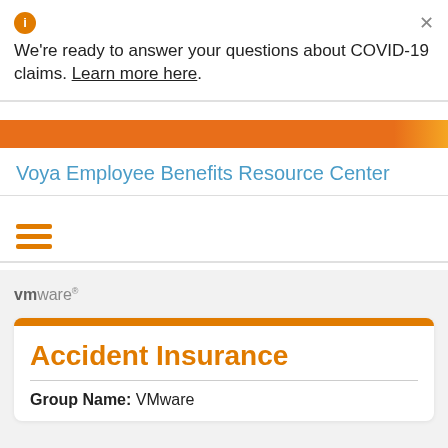We're ready to answer your questions about COVID-19 claims. Learn more here.
Voya Employee Benefits Resource Center
[Figure (logo): VMware logo in gray text]
Accident Insurance
Group Name: VMware